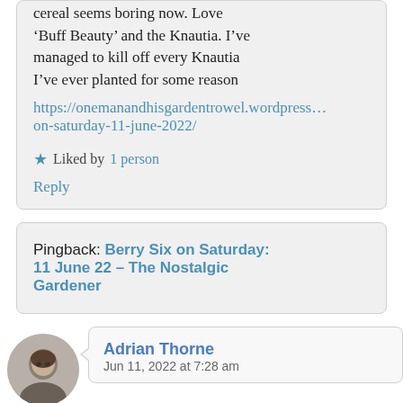cereal seems boring now. Love 'Buff Beauty' and the Knautia. I've managed to kill off every Knautia I've ever planted for some reason
https://onemanandhisgardentrowel.wordpress...on-saturday-11-june-2022/
★ Liked by 1 person
Reply
Pingback: Berry Six on Saturday: 11 June 22 – The Nostalgic Gardener
Adrian Thorne
Jun 11, 2022 at 7:28 am